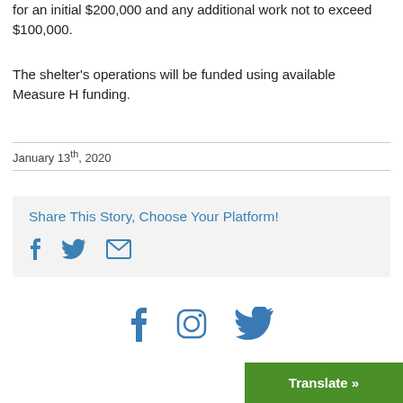for an initial $200,000 and any additional work not to exceed $100,000.
The shelter's operations will be funded using available Measure H funding.
January 13th, 2020
Share This Story, Choose Your Platform!
[Figure (infographic): Social share icons: Facebook, Twitter, Email]
[Figure (infographic): Footer social icons: Facebook, Instagram, Twitter]
Translate »